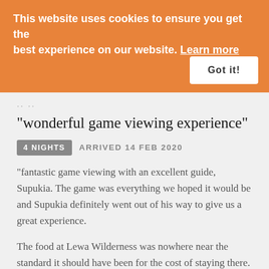This website uses cookies to ensure you get the best experience on our website. Learn more
Got it!
.. ..
"wonderful game viewing experience"
4 NIGHTS   ARRIVED 14 FEB 2020
"fantastic game viewing with an excellent guide, Supukia. The game was everything we hoped it would be and Supukia definitely went out of his way to give us a great experience.
The food at Lewa Wilderness was nowhere near the standard it should have been for the cost of staying there. It was not a patch the two other camps we stayed at. I would describe the food at Lewa to be grandmothers cooking. Carrots, green beans and